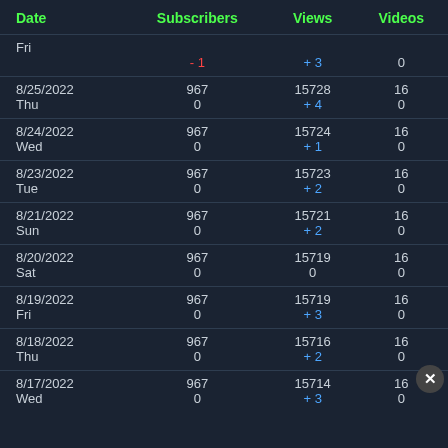| Date | Subscribers | Views | Videos |
| --- | --- | --- | --- |
| Fri | -1 | +3 | 0 |
| 8/25/2022
Thu | 967
0 | 15728
+4 | 16
0 |
| 8/24/2022
Wed | 967
0 | 15724
+1 | 16
0 |
| 8/23/2022
Tue | 967
0 | 15723
+2 | 16
0 |
| 8/21/2022
Sun | 967
0 | 15721
+2 | 16
0 |
| 8/20/2022
Sat | 967
0 | 15719
0 | 16
0 |
| 8/19/2022
Fri | 967
0 | 15719
+3 | 16
0 |
| 8/18/2022
Thu | 967
0 | 15716
+2 | 16
0 |
| 8/17/2022
Wed | 967
0 | 15714
+3 | 16
0 |